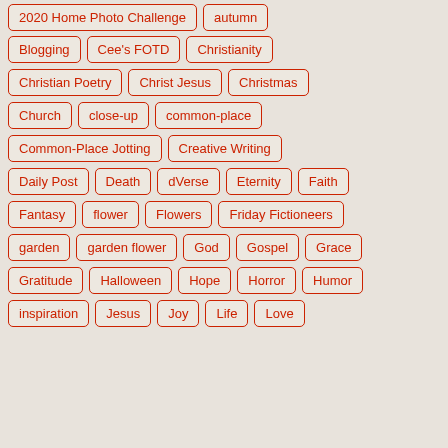2020 Home Photo Challenge
autumn
Blogging
Cee's FOTD
Christianity
Christian Poetry
Christ Jesus
Christmas
Church
close-up
common-place
Common-Place Jotting
Creative Writing
Daily Post
Death
dVerse
Eternity
Faith
Fantasy
flower
Flowers
Friday Fictioneers
garden
garden flower
God
Gospel
Grace
Gratitude
Halloween
Hope
Horror
Humor
inspiration
Jesus
Joy
Life
Love